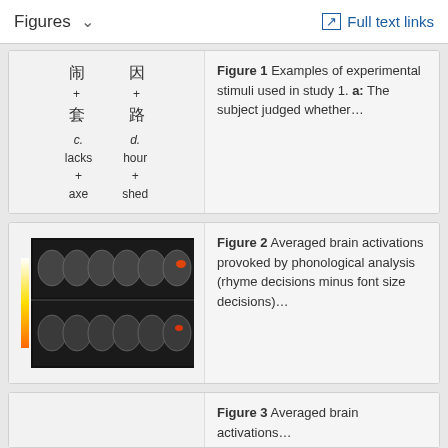Figures  ∨   Full text links
[Figure (illustration): Experimental stimuli examples: Chinese characters (闹+套, 因+路) and English words (c. lacks+axe, d. hour+shed)]
Figure 1 Examples of experimental stimuli used in study 1. a: The subject judged whether…
[Figure (photo): Brain scan images showing averaged brain activations in two rows of axial slices with color scale bar on left]
Figure 2 Averaged brain activations provoked by phonological analysis (rhyme decisions minus font size decisions)…
Figure 3 Averaged brain activations…